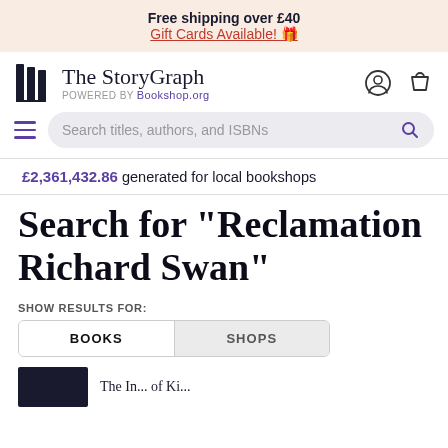Free shipping over £40
Gift Cards Available! 🎁
[Figure (logo): The StoryGraph logo with book icon and 'POWERED BY Bookshop.org' tagline, plus user and cart icons]
Search titles, authors, and ISBNs
£2,361,432.86 generated for local bookshops
Search for "Reclamation Richard Swan"
SHOW RESULTS FOR:
BOOKS  SHOPS